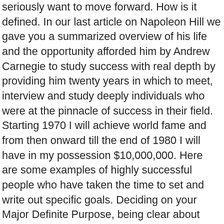seriously want to move forward. How is it defined. In our last article on Napoleon Hill we gave you a summarized overview of his life and the opportunity afforded him by Andrew Carnegie to study success with real depth by providing him twenty years in which to meet, interview and study deeply individuals who were at the pinnacle of success in their field. Starting 1970 I will achieve world fame and from then onward till the end of 1980 I will have in my possession $10,000,000. Here are some examples of highly successful people who have taken the time to set and write out specific goals. Deciding on your Major Definite Purpose, being clear about what you desire and what you are prepared to exchange for what you desire, writing it down and reading it every day will begin to reprogram your subconscious mind. Well, how many of you reading this know precisely what you want to achieve and a time frame for completing it in? I put it in my wallet and it deteriorated. A major definite purpose is a person's “prime directive” or “chief aim” or “ultimate goal” in life. They live a life of confusion, at worst, and